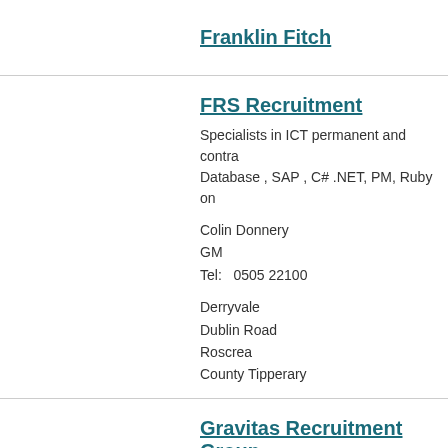Franklin Fitch
FRS Recruitment
Specialists in ICT permanent and contra... Database , SAP , C# .NET, PM, Ruby on...
Colin Donnery
GM
Tel:   0505 22100

Derryvale
Dublin Road
Roscrea
County Tipperary
Gravitas Recruitment Group
Gravitas Recruitment Group, are a leadi... service in placing professionals to our cl...
11 Leadenhall Street
London